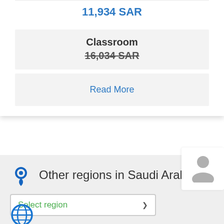11,934 SAR
Classroom
16,034 SAR
Read More
Other regions in Saudi Arabia
Select region